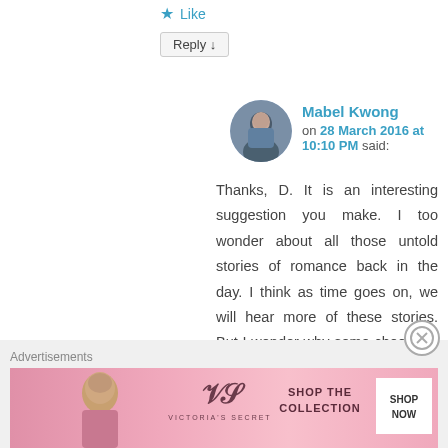★ Like
Reply ↓
Mabel Kwong
on 28 March 2016 at 10:10 PM said:
Thanks, D. It is an interesting suggestion you make. I too wonder about all those untold stories of romance back in the day. I think as time goes on, we will hear more of these stories. But I wonder why some choose to see love the practical way – apart from all the practical reasons, what else do men/women get out of that. Then again, love is complex.
Advertisements
[Figure (photo): Victoria's Secret advertisement banner: pink background with woman model on left, VS logo in center, text 'SHOP THE COLLECTION' and 'SHOP NOW' button on right]